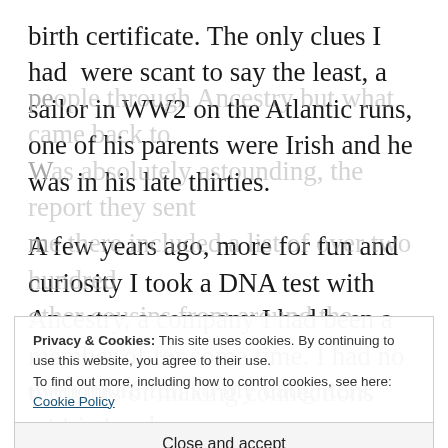birth certificate. The only clues I had were scant to say the least, a sailor in WW2 on the Atlantic runs, one of his parents were Irish and he was in his late thirties.
A few years ago, more for fun and curiosity I took a DNA test with Ancestry, a company I had been a member of for some time. I had no thoughts of making connections with other pe[ople... (partially obscured by cookie banner)
Privacy & Cookies: This site uses cookies. By continuing to use this website, you agree to their use. To find out more, including how to control cookies, see here: Cookie Policy
Close and accept
even more fun so my daughters, cousins and my